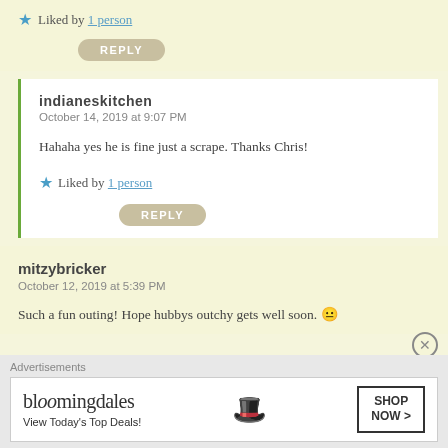★ Liked by 1 person
REPLY
indianeskitchen
October 14, 2019 at 9:07 PM
Hahaha yes he is fine just a scrape. Thanks Chris!
★ Liked by 1 person
REPLY
mitzybricker
October 12, 2019 at 5:39 PM
Such a fun outing! Hope hubbys outchy gets well soon. 😐
Advertisements
[Figure (other): Bloomingdales advertisement banner with logo, 'View Today's Top Deals!' tagline, woman in hat, and SHOP NOW button]